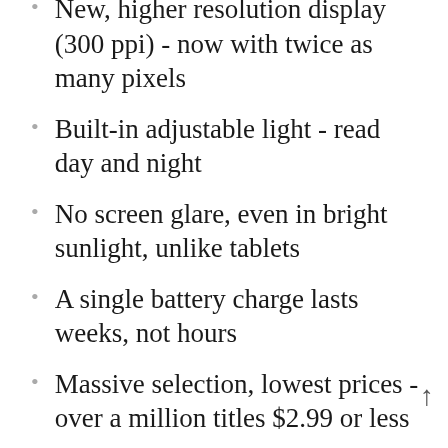New, higher resolution display (300 ppi) - now with twice as many pixels
Built-in adjustable light - read day and night
No screen glare, even in bright sunlight, unlike tablets
A single battery charge lasts weeks, not hours
Massive selection, lowest prices - over a million titles $2.99 or less
Lighter than a paperback, holds thousands of books
Exclusive features help build your vocabulary, learn about characters,